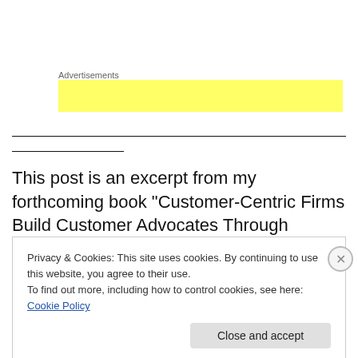Advertisements
[Figure (other): Yellow advertisement banner placeholder]
This post is an excerpt from my forthcoming book “Customer-Centric Firms Build Customer Advocates Through Winning Customer Experiences”. I’m available to
Privacy & Cookies: This site uses cookies. By continuing to use this website, you agree to their use.
To find out more, including how to control cookies, see here: Cookie Policy
Close and accept